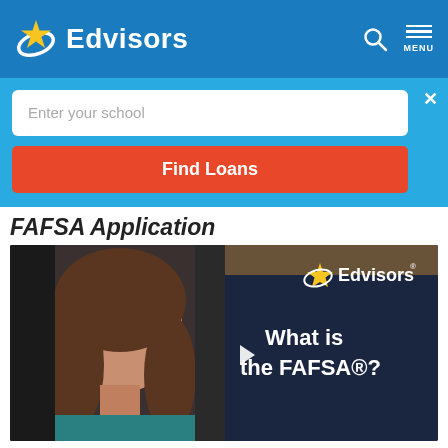Edvisors
[Figure (screenshot): Search bar with 'Enter your school' placeholder and 'Find Loans' red button on blue background]
FAFSA Application
[Figure (screenshot): Video thumbnail showing woman's face on left and Edvisors logo with 'What is the FAFSA®?' text on dark blue background on right]
There are three ways you can file the FAFSA: Online,